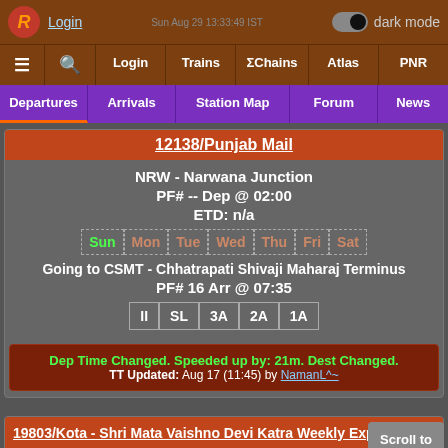Login | dark mode toggle | Sun Aug 29 13:33:49 IST
≡ | 🔍 | Login | Trains | ΣChains | Atlas | PNR
Departures | Arrivals | Station Map | Forum | News
12138/Punjab Mail
NRW - Narwana Junction
PF# -- Dep @ 02:00
ETD: n/a
Sun | Mon | Tue | Wed | Thu | Fri | Sat
Going to CSMT - Chhatrapati Shivaji Maharaj Terminus
PF# 16 Arr @ 07:35
II | SL | 3A | 2A | 1A
Dep Time Changed. Speeded up by: 21m. Dest Changed. TT Updated: Aug 17 (11:45) by NamanL^~
19803/Kota - Shri Mata Vaishno Devi Katra Weekly Ex...
NRW - Narwana Junction
Scroll to Bottom